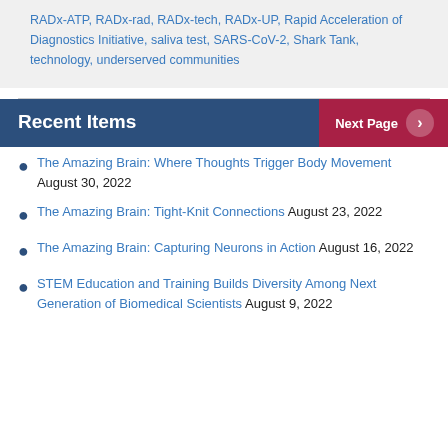RADx-ATP, RADx-rad, RADx-tech, RADx-UP, Rapid Acceleration of Diagnostics Initiative, saliva test, SARS-CoV-2, Shark Tank, technology, underserved communities
Recent Items
The Amazing Brain: Where Thoughts Trigger Body Movement August 30, 2022
The Amazing Brain: Tight-Knit Connections August 23, 2022
The Amazing Brain: Capturing Neurons in Action August 16, 2022
STEM Education and Training Builds Diversity Among Next Generation of Biomedical Scientists August 9, 2022